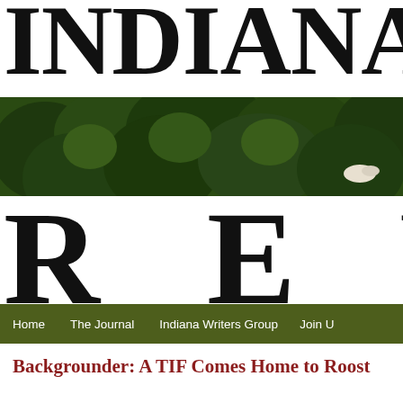INDIANA REVIEW
[Figure (photo): Landscape photo showing dense green trees/foliage in background and yellow flowers (black-eyed Susans) in foreground with a white bird visible in upper right; forms the middle band of the Indiana Review masthead.]
Home    The Journal    Indiana Writers Group    Join U
Backgrounder: A TIF Comes Home to Roost